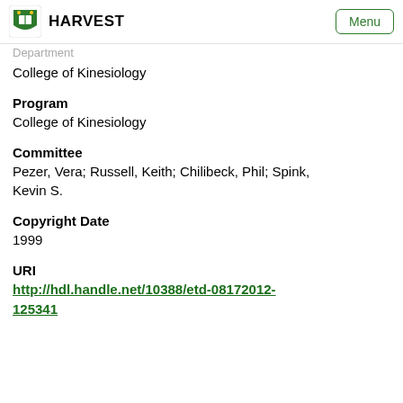HARVEST
Department
College of Kinesiology
Program
College of Kinesiology
Committee
Pezer, Vera; Russell, Keith; Chilibeck, Phil; Spink, Kevin S.
Copyright Date
1999
URI
http://hdl.handle.net/10388/etd-08172012-125341